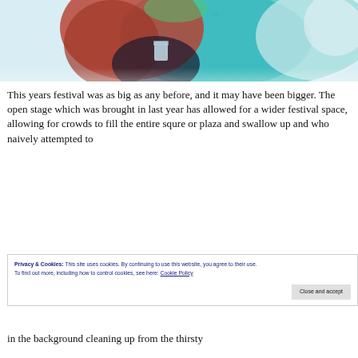[Figure (photo): Photo of festival crowd, showing a woman with red/auburn hair wearing a teal scarf, holding a cup, with other attendees visible in background]
This years festival was as big as any before, and it may have been bigger. The open stage which was brought in last year has allowed for a wider festival space, allowing for crowds to fill the entire squre or plaza and swallow up and who naively attempted to
Privacy & Cookies: This site uses cookies. By continuing to use this website, you agree to their use. To find out more, including how to control cookies, see here: Cookie Policy
Close and accept
in the background cleaning up from the thirsty